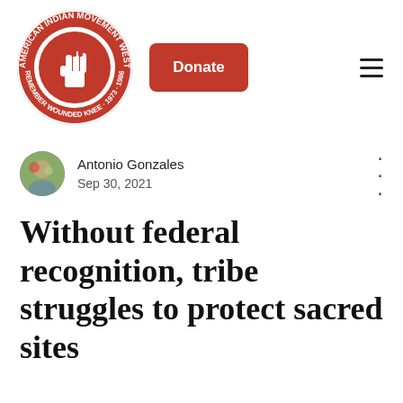[Figure (logo): American Indian Movement West circular logo with red background, fist symbol, and text reading AMERICAN INDIAN MOVEMENT WEST REMEMBER WOUNDED KNEE 1973 1986]
[Figure (other): Red Donate button (rounded rectangle)]
[Figure (other): Hamburger menu icon (three horizontal lines)]
[Figure (photo): Circular author avatar photo of Antonio Gonzales]
Antonio Gonzales
Sep 30, 2021
Without federal recognition, tribe struggles to protect sacred sites